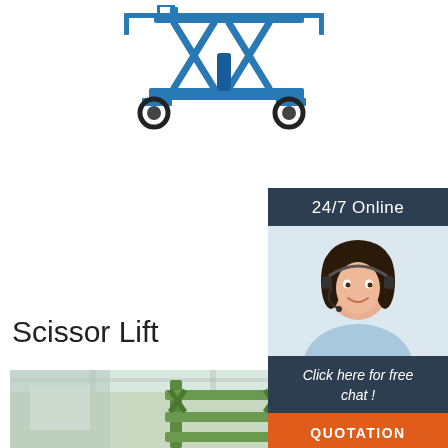[Figure (photo): Blue scissor lift machine viewed from above/side, with extended arms, on white background]
Scissor Lift
BUY scissor lift from Pro Workshop Gear wi Warranty! Scissor car lifts deliver great perfo for all terrains and job sites. CALL US ????: 002
[Figure (infographic): Sidebar widget with dark background showing '24/7 Online' label, photo of female customer service agent with headset smiling, 'Click here for free chat!' text, and orange QUOTATION button]
[Figure (photo): Green scissor lift inside industrial warehouse/facility]
Get Price
QUOTATION